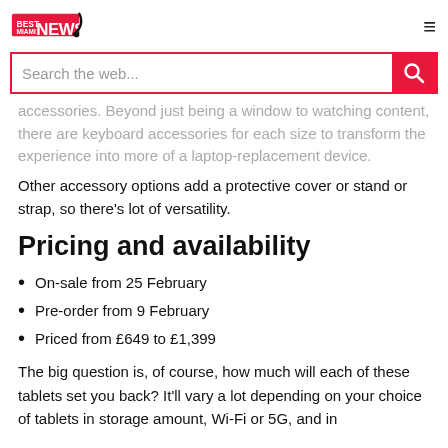Best Miami News
accessories. Beyond just being a window to watching content, there are keyboard accessories for each size to transform the experience into more of a laptop-replacement device.
Other accessory options add a protective cover or stand or strap, so there's lot of versatility.
Pricing and availability
On-sale from 25 February
Pre-order from 9 February
Priced from £649 to £1,399
The big question is, of course, how much will each of these tablets set you back? It'll vary a lot depending on your choice of tablet size, storage amount, Wi-Fi or 5G, and in